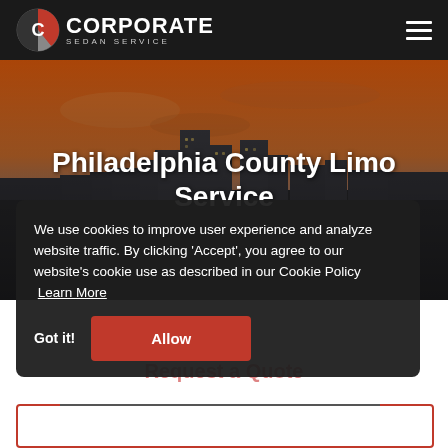[Figure (logo): Corporate Sedan Service logo with a circular C emblem in red, white, and gray, followed by the text CORPORATE in large white bold letters and SEDAN SERVICE in small white letters below]
Philadelphia County Limo Service
We use cookies to improve user experience and analyze website traffic. By clicking 'Accept', you agree to our website's cookie use as described in our Cookie Policy  Learn More
Request a Quote
Got it!
Allow